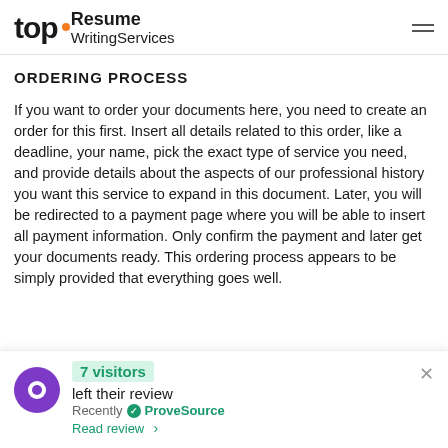[Figure (logo): Top Resume Writing Services logo with orange dot and hamburger menu icon]
ORDERING PROCESS
If you want to order your documents here, you need to create an order for this first. Insert all details related to this order, like a deadline, your name, pick the exact type of service you need, and provide details about the aspects of our professional history you want this service to expand in this document. Later, you will be redirected to a payment page where you will be able to insert all payment information. Only confirm the payment and later get your documents ready. This ordering process appears to be simply provided that everything goes well.
[Figure (infographic): Notification popup: 7 visitors left their review. Recently verified by ProveSource. Read review link. Purple circular icon on left. Close X button on right.]